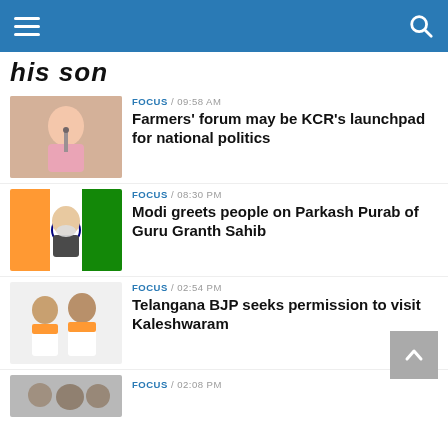News site header with hamburger menu and search icon
his son
[Figure (photo): Man in pink shirt speaking at a microphone]
FOCUS / 09:58 AM
Farmers' forum may be KCR's launchpad for national politics
[Figure (photo): Narendra Modi in front of Indian flags]
FOCUS / 08:30 PM
Modi greets people on Parkash Purab of Guru Granth Sahib
[Figure (photo): Two men in saffron scarves at press conference]
FOCUS / 02:54 PM
Telangana BJP seeks permission to visit Kaleshwaram
[Figure (photo): Partial image at bottom of page]
FOCUS / 02:08 PM